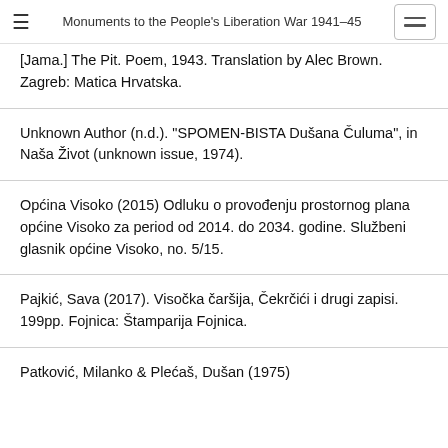Monuments to the People's Liberation War 1941-45
[Jama.] The Pit. Poem, 1943. Translation by Alec Brown. Zagreb: Matica Hrvatska.
Unknown Author (n.d.). “SPOMEN-BISTA Dušana Čuluma”, in Naša Život (unknown issue, 1974).
Općina Visoko (2015) Odluku o provođenju prostornog plana općine Visoko za period od 2014. do 2034. godine. Službeni glasnik općine Visoko, no. 5/15.
Pajkić, Sava (2017). Visočka čaršija, Čekrčići i drugi zapisi. 199pp. Fojnica: Štamparija Fojnica.
Patkovać, Milanko & Plećaš, Dušan (1975)